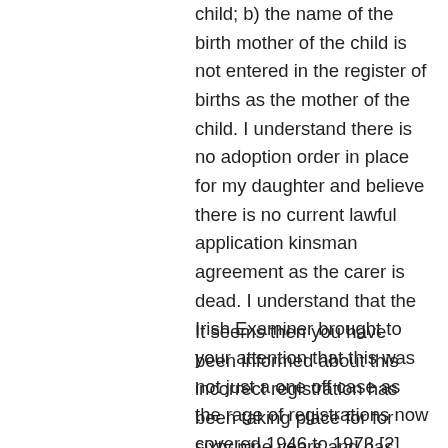child; b) the name of the birth mother of the child is not entered in the register of births as the mother of the child. I understand there is no adoption order in place for my daughter and believe there is no current lawful application kinsman agreement as the carer is dead. I understand that the Irish Examiner brought to your attention that this was not just a one off case as the rage of registrations now covered 1946 to 1973 [2]. The Irish Times then extends this scope to 2005 and later 2015. and then further identified on Researching Reform [3].
It seems then you have been informed about this incorrect registration has been taking place for for sixty nine years and has been exploited by